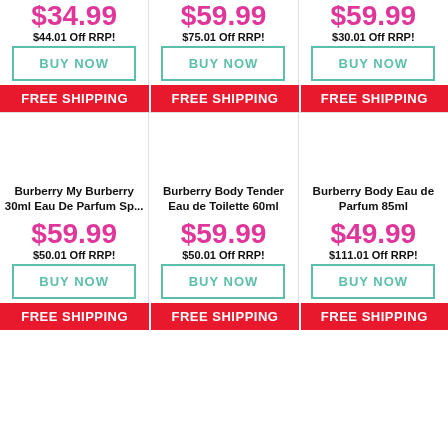$34.99
$44.01 Off RRP!
BUY NOW
FREE SHIPPING
$59.99
$75.01 Off RRP!
BUY NOW
FREE SHIPPING
$59.99
$30.01 Off RRP!
BUY NOW
FREE SHIPPING
Burberry My Burberry 30ml Eau De Parfum Sp...
$59.99
$50.01 Off RRP!
BUY NOW
FREE SHIPPING
Burberry Body Tender Eau de Toilette 60ml
$59.99
$50.01 Off RRP!
BUY NOW
FREE SHIPPING
Burberry Body Eau de Parfum 85ml
$49.99
$111.01 Off RRP!
BUY NOW
FREE SHIPPING